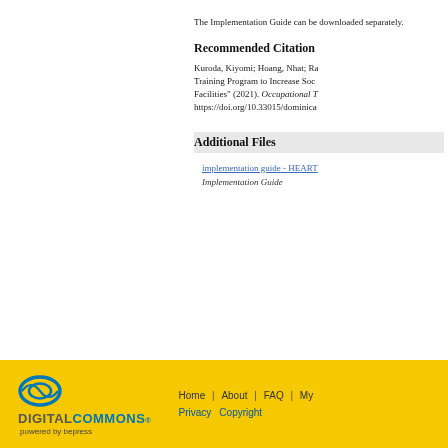The Implementation Guide can be downloaded separately.
Recommended Citation
Kuroda, Kiyomi; Hoang, Nhat; Ra... Training Program to Increase Soc... Facilities" (2021). Occupational T... https://doi.org/10.33015/dominica...
Additional Files
implementation guide - HEART...
Implementation Guide
Home | About | FAQ | My... Privacy Copyright